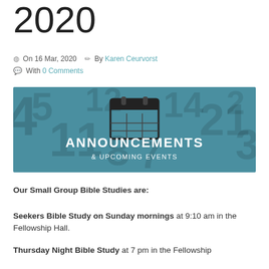2020
On 16 Mar, 2020  By Karen Ceurvorst
With 0 Comments
[Figure (illustration): Announcements & Upcoming Events banner with teal background, calendar icon, and large numbers watermark]
Our Small Group Bible Studies are:
Seekers Bible Study on Sunday mornings at 9:10 am in the Fellowship Hall.
Thursday Night Bible Study at 7 pm in the Fellowship